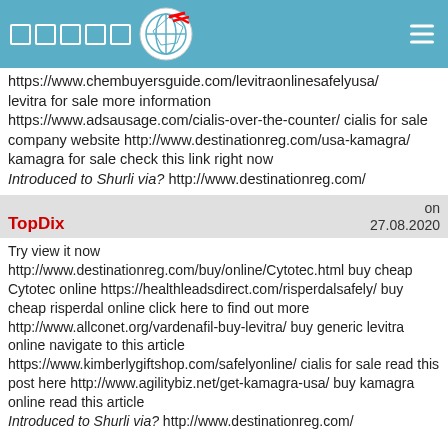Navigation header with logo and hamburger menu
https://www.chembuyersguide.com/levitraonlinesafelyusa/ levitra for sale more information https://www.adsausage.com/cialis-over-the-counter/ cialis for sale company website http://www.destinationreg.com/usa-kamagra/ kamagra for sale check this link right now Introduced to Shurli via? http://www.destinationreg.com/
TopDix on 27.08.2020
Try view it now http://www.destinationreg.com/buy/online/Cytotec.html buy cheap Cytotec online https://healthleadsdirect.com/risperdalsafely/ buy cheap risperdal online click here to find out more http://www.allconet.org/vardenafil-buy-levitra/ buy generic levitra online navigate to this article https://www.kimberlygiftshop.com/safelyonline/ cialis for sale read this post here http://www.agilitybiz.net/get-kamagra-usa/ buy kamagra online read this article Introduced to Shurli via? http://www.destinationreg.com/